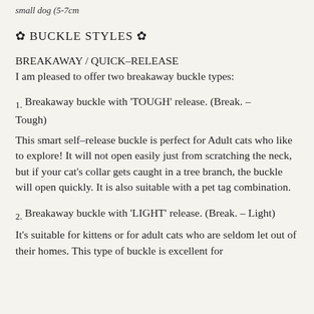small dog (5-7cm
✿ BUCKLE STYLES ✿
BREAKAWAY / QUICK-RELEASE
I am pleased to offer two breakaway buckle types:
1. Breakaway buckle with 'TOUGH' release. (Break. – Tough)
This smart self-release buckle is perfect for Adult cats who like to explore! It will not open easily just from scratching the neck, but if your cat's collar gets caught in a tree branch, the buckle will open quickly. It is also suitable with a pet tag combination.
2. Breakaway buckle with 'LIGHT' release. (Break. – Light)
It's suitable for kittens or for adult cats who are seldom let out of their homes. This type of buckle is excellent for